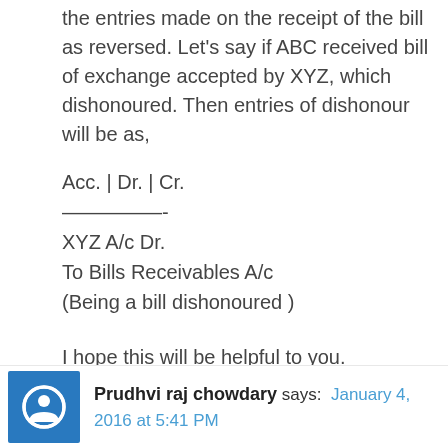the entries made on the receipt of the bill as reversed. Let's say if ABC received bill of exchange accepted by XYZ, which dishonoured. Then entries of dishonour will be as,
Acc. | Dr. | Cr.
—————-
XYZ A/c Dr.
To Bills Receivables A/c
(Being a bill dishonoured )
I hope this will be helpful to you.
Reply
Prudhvi raj chowdary says: January 4, 2016 at 5:41 PM